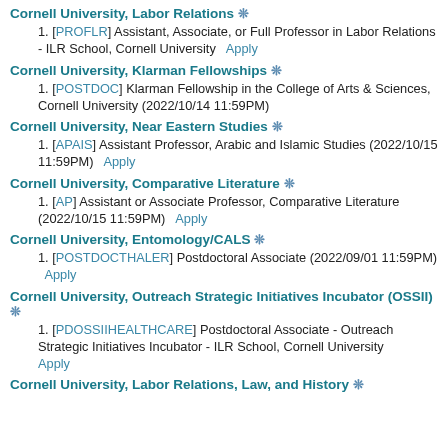Cornell University, Labor Relations ❊
[PROFLR] Assistant, Associate, or Full Professor in Labor Relations - ILR School, Cornell University   Apply
Cornell University, Klarman Fellowships ❊
[POSTDOC] Klarman Fellowship in the College of Arts & Sciences, Cornell University (2022/10/14 11:59PM)
Cornell University, Near Eastern Studies ❊
[APAIS] Assistant Professor, Arabic and Islamic Studies (2022/10/15 11:59PM)   Apply
Cornell University, Comparative Literature ❊
[AP] Assistant or Associate Professor, Comparative Literature (2022/10/15 11:59PM)   Apply
Cornell University, Entomology/CALS ❊
[POSTDOCTHALER] Postdoctoral Associate (2022/09/01 11:59PM)   Apply
Cornell University, Outreach Strategic Initiatives Incubator (OSSII) ❊
[PDOSSIIHEALTHCARE] Postdoctoral Associate - Outreach Strategic Initiatives Incubator - ILR School, Cornell University   Apply
Cornell University, Labor Relations, Law, and History ❊